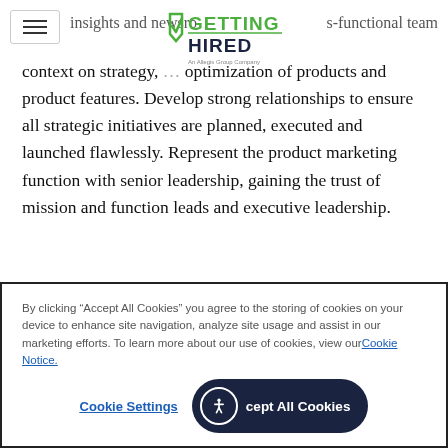insights and newsro... s-functional team
[Figure (logo): Getting Hired logo - green text with checkmark, An Allegis Group Company]
context on strategy, ... optimization of products and product features. Develop strong relationships to ensure all strategic initiatives are planned, executed and launched flawlessly. Represent the product marketing function with senior leadership, gaining the trust of mission and function leads and executive leadership.
Requirements
By clicking “Accept All Cookies” you agree to the storing of cookies on your device to enhance site navigation, analyze site usage and assist in our marketing efforts. To learn more about our use of cookies, view our Cookie Notice.
Cookie Settings | Accept All Cookies